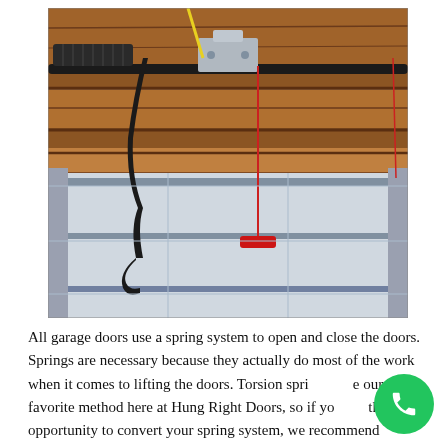[Figure (photo): Interior view of a garage showing the ceiling mechanism with torsion springs, a black curved bar, a red hanging release handle on a red cord, and garage door panels visible below.]
All garage doors use a spring system to open and close the doors. Springs are necessary because they actually do most of the work when it comes to lifting the doors. Torsion springs are our favorite method here at Hung Right Doors, so if you have the opportunity to convert your spring system, we recommend